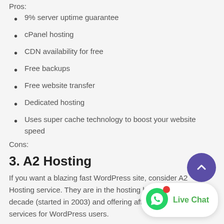Pros:
9% server uptime guarantee
cPanel hosting
CDN availability for free
Free backups
Free website transfer
Dedicated hosting
Uses super cache technology to boost your website speed
Cons:
3. A2 Hosting
If you want a blazing fast WordPress site, consider A2 Hosting service. They are in the hosting business for over a decade (started in 2003) and offering affordable fast hosting services for WordPress users.